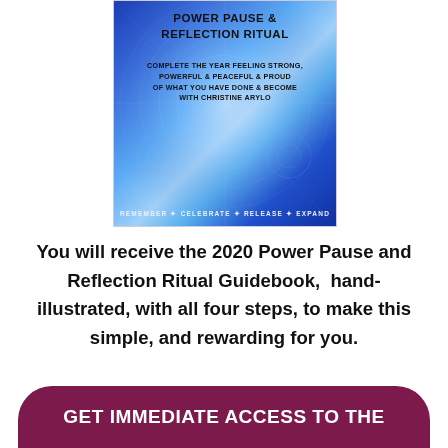[Figure (illustration): Book cover for 'Power Pause & Reflection Ritual' by Christine Arylo. Blue mandala/geometric background with text: 'COMPLETE THE YEAR FEELING STRONG, POWERFUL & PEACEFUL & PROUD OF WHAT YOU HAVE DONE & BECOME WITH CHRISTINE ARYLO'. Bottom text: 'REMEMBER + CELEBRATE + RELEASE + EXPAND'.]
You will receive the 2020 Power Pause and Reflection Ritual Guidebook,  hand-illustrated, with all four steps, to make this simple, and rewarding for you.
GET IMMEDIATE ACCESS TO THE